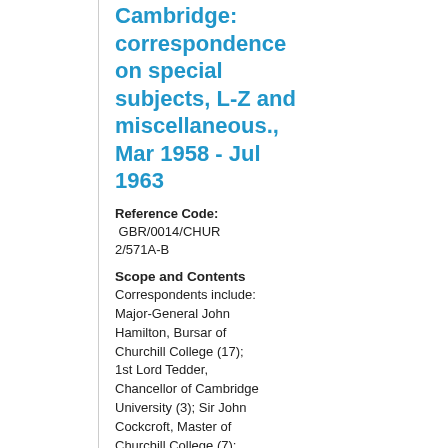Cambridge: correspondence on special subjects, L-Z and miscellaneous., Mar 1958 - Jul 1963
Reference Code: GBR/0014/CHUR 2/571A-B
Scope and Contents
Correspondents include: Major-General John Hamilton, Bursar of Churchill College (17); 1st Lord Tedder, Chancellor of Cambridge University (3); Sir John Cockcroft, Master of Churchill College (7); Anthony Phelps, Private Secretary to the Prime